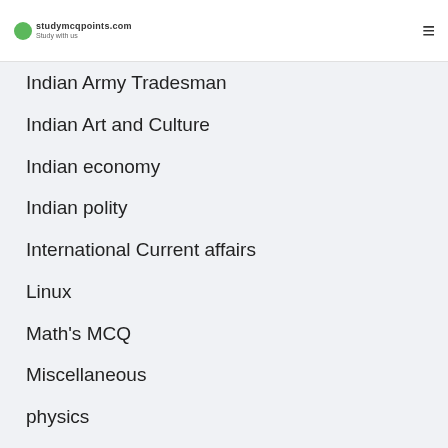studymcqpoints.com — hamburger menu
Indian Army Tradesman
Indian Art and Culture
Indian economy
Indian polity
International Current affairs
Linux
Math's MCQ
Miscellaneous
physics
Reasoning online test series
Safai karmchari
Science
Science & technology
Science & Technology current Affairs